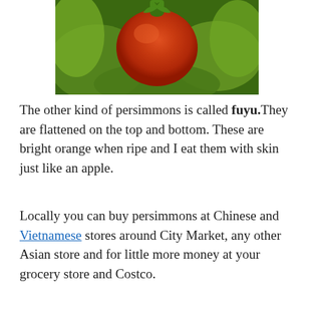[Figure (photo): Close-up photo of a red/orange persimmon fruit against green foliage background]
The other kind of persimmons is called fuyu. They are flattened on the top and bottom. These are bright orange when ripe and I eat them with skin just like an apple.
Locally you can buy persimmons at Chinese and Vietnamese stores around City Market, any other Asian store and for little more money at your grocery store and Costco.